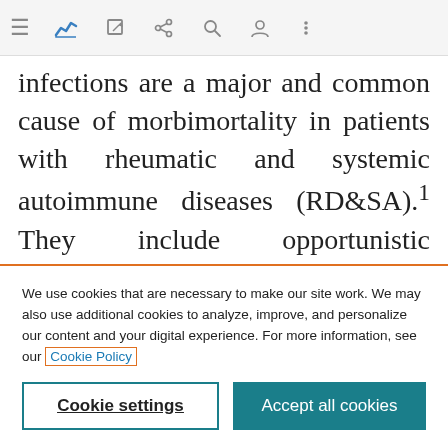[Figure (screenshot): Mobile browser navigation bar with hamburger menu, bookmark/chart icon (blue), edit icon, share icon, search icon, profile icon, and more options icon]
infections are a major and common cause of morbimortality in patients with rheumatic and systemic autoimmune diseases (RD&SA).¹ They include opportunistic infections among others, defined as those caused by non-pathogenic organisms which become pathogenic when the
We use cookies that are necessary to make our site work. We may also use additional cookies to analyze, improve, and personalize our content and your digital experience. For more information, see our Cookie Policy
Cookie settings
Accept all cookies